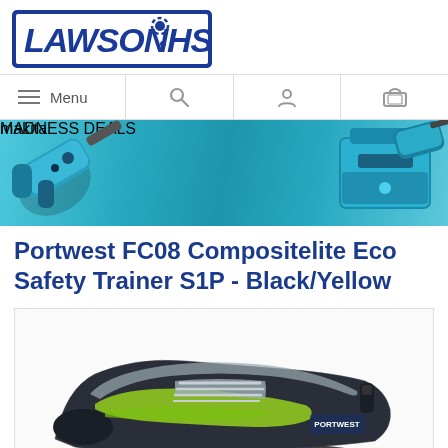[Figure (logo): Lawson HIS logo — blue italic bold text LAWSON with a gear icon and HIS on a white background with blue border]
[Figure (screenshot): Navigation bar with hamburger Menu icon, search icon, user icon, and cart icon]
[Figure (infographic): Makita Madness Deals promotional banner with teal background, Makita tools on left, blue toolbox on right, white bold text MADNESS DEALS and italic makita text]
Portwest FC08 Compositelite Eco Safety Trainer S1P - Black/Yellow
[Figure (photo): Portwest FC08 safety trainer shoe — black and yellow/lime green athletic style safety shoe with grey laces, shown from side angle]